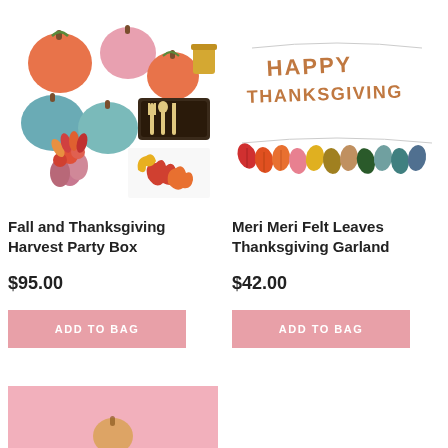[Figure (photo): Fall and Thanksgiving Harvest Party Box product image showing colorful pumpkins, cutlery set, turkey crackers, and autumn leaf napkins]
[Figure (photo): Meri Meri Felt Leaves Thanksgiving Garland product image showing Happy Thanksgiving banner and colorful felt leaf garland]
Fall and Thanksgiving Harvest Party Box
Meri Meri Felt Leaves Thanksgiving Garland
$95.00
$42.00
ADD TO BAG
ADD TO BAG
[Figure (photo): Pink product image partially visible at bottom of page]